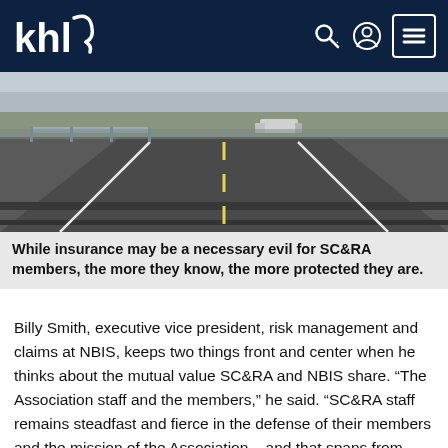khl [logo with navigation icons: search, account, menu]
[Figure (photo): Aerial/ground-level view of a highway with a truck/semi-trailer in the distance on a flat, open road with lane markings visible.]
While insurance may be a necessary evil for SC&RA members, the more they know, the more protected they are.
Billy Smith, executive vice president, risk management and claims at NBIS, keeps two things front and center when he thinks about the mutual value SC&RA and NBIS share. “The Association staff and the members,” he said. “SC&RA staff remains steadfast and fierce in the defense of their members and the mission of the Association – and that spans from advocacy for important industry issues on the Senate floor through ensuring meaningful and safe industry events and forums that provide collaboration, education and